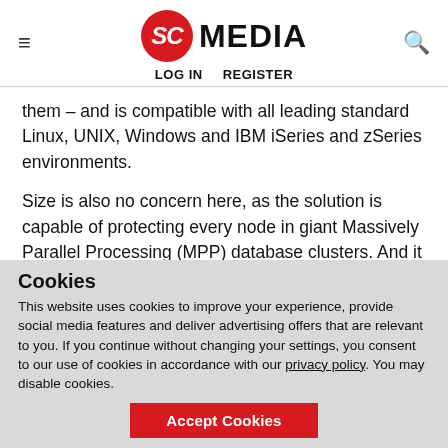SC MEDIA | LOG IN  REGISTER
them – and is compatible with all leading standard Linux, UNIX, Windows and IBM iSeries and zSeries environments.
Size is also no concern here, as the solution is capable of protecting every node in giant Massively Parallel Processing (MPP) database clusters. And it is certified to run on cloud and virtual environments such as VMware, Xen and Hyper-V.
Cookies
This website uses cookies to improve your experience, provide social media features and deliver advertising offers that are relevant to you. If you continue without changing your settings, you consent to our use of cookies in accordance with our privacy policy. You may disable cookies.